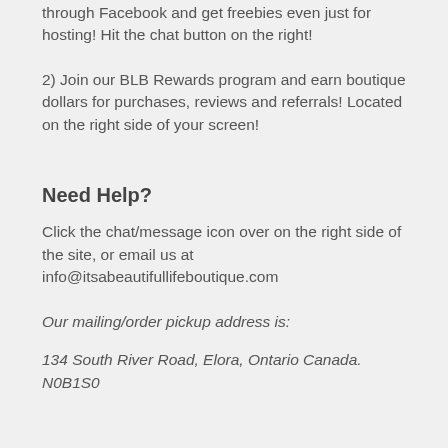through Facebook and get freebies even just for hosting! Hit the chat button on the right!
2) Join our BLB Rewards program and earn boutique dollars for purchases, reviews and referrals! Located on the right side of your screen!
Need Help?
Click the chat/message icon over on the right side of the site, or email us at info@itsabeautifullifeboutique.com
Our mailing/order pickup address is:
134 South River Road, Elora, Ontario Canada. N0B1S0